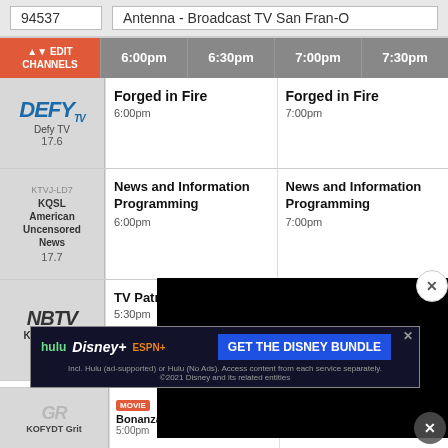94537
Antenna - Broadcast TV San Fran-O...
| Channel | 6:00pm | 6:30pm | 7:00pm | 7:30pm |
| --- | --- | --- | --- | --- |
| Defy TV 17.6 | Forged in Fire 6:00pm |  | Forged in Fire 7:00pm |  |
| KTVJ-LD7 KQSL American Uncensored News 17.7 | News and Information Programming 6:00pm |  | News and Information Programming 7:00pm |  |
| NBTV KQSL-KTSF 17.8 | TV Patrol 5:30pm | Good Meets Health... 6:30pm |  |  |
[Figure (screenshot): Black video overlay panel with close button]
[Figure (infographic): Disney Bundle advertisement: hulu Disney+ ESPN+ GET THE DISNEY BUNDLE. Incl. Hulu (ad-supported) or Hulu (No Ads). Access content from each service separately. ©2021 Disney and its related entities]
| Channel | 5:00pm (Movie) | 7:00pm (Movie) |
| --- | --- | --- |
| KOFYDT Grit | Bonanza (1993) 5:00pm | Reprisal (1956) 7:00pm |